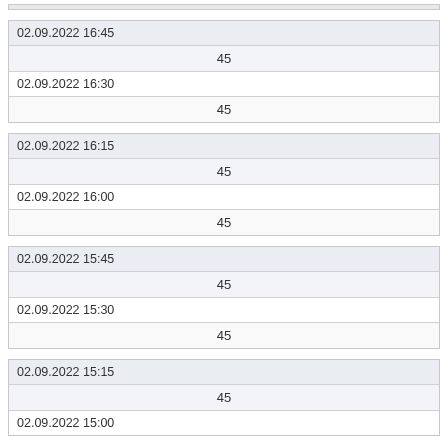| 02.09.2022 16:45 |  |
|  | 45 |
| 02.09.2022 16:30 |  |
|  | 45 |
| 02.09.2022 16:15 |  |
|  | 45 |
| 02.09.2022 16:00 |  |
|  | 45 |
| 02.09.2022 15:45 |  |
|  | 45 |
| 02.09.2022 15:30 |  |
|  | 45 |
| 02.09.2022 15:15 |  |
|  | 45 |
| 02.09.2022 15:00 |  |